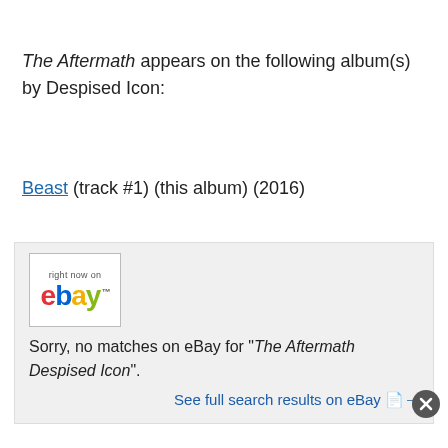The Aftermath appears on the following album(s) by Despised Icon:
Beast (track #1) (this album) (2016)
[Figure (screenshot): eBay 'right now on ebay' logo widget in a bordered box, followed by text 'Sorry, no matches on eBay for "The Aftermath Despised Icon".' and a link 'See full search results on eBay']